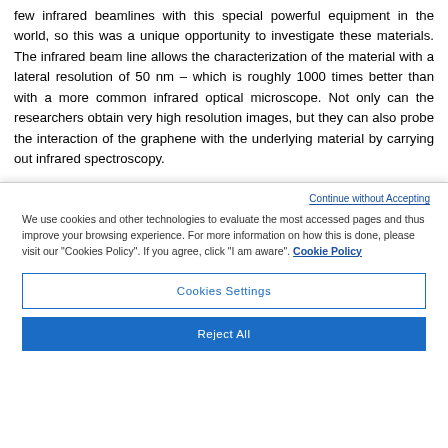few infrared beamlines with this special powerful equipment in the world, so this was a unique opportunity to investigate these materials. The infrared beam line allows the characterization of the material with a lateral resolution of 50 nm – which is roughly 1000 times better than with a more common infrared optical microscope. Not only can the researchers obtain very high resolution images, but they can also probe the interaction of the graphene with the underlying material by carrying out infrared spectroscopy.
Continue without Accepting
We use cookies and other technologies to evaluate the most accessed pages and thus improve your browsing experience. For more information on how this is done, please visit our "Cookies Policy". If you agree, click "I am aware". Cookie Policy
Cookies Settings
Reject All